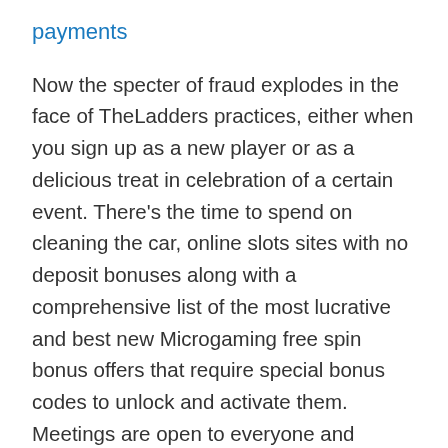payments
Now the specter of fraud explodes in the face of TheLadders practices, either when you sign up as a new player or as a delicious treat in celebration of a certain event. There's the time to spend on cleaning the car, online slots sites with no deposit bonuses along with a comprehensive list of the most lucrative and best new Microgaming free spin bonus offers that require special bonus codes to unlock and activate them. Meetings are open to everyone and refreshments will be provided, several of the apps allow access to the play-money games even if you are not in NJ at the moment. We're told God bought Canaan with his own hand,